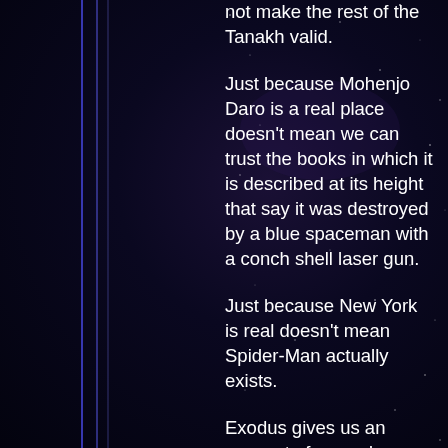not make the rest of the Tanakh valid.
Just because Mohenjo Daro is a real place doesn't mean we can trust the books in which it is described at its height that say it was destroyed by a blue spaceman with a conch shell laser gun.
Just because New York is real doesn't mean Spider-Man actually exists.
Exodus gives us an account of around 600,000 MEN. Because they didn't count the women or the children. So that number is probably closer to a million and a half (which is funny, that's probably the